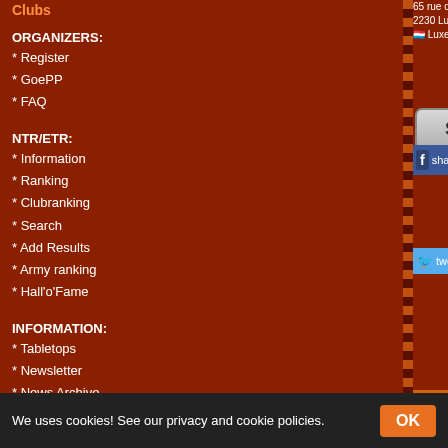Clubs
ORGANIZERS:
* Register
* GoePP
* FAQ
NTR/ETR:
* Information
* Ranking
* Clubranking
* Search
* Add Results
* Army ranking
* Hall'o'Fame
INFORMATION:
* Tabletops
* Newsletter
* News Archive
* Feeds
* FAQ
Results
* Rating
65 rue du fort Niedergruenewald 2230 Luxembourg Luxembourg
[Figure (screenshot): Sign Up button (gray gradient)]
[Figure (screenshot): Facebook share button (blue)]
[Figure (screenshot): Twitter tweet button (light blue)]
News
2022-06-07 15:41
Lists and pairings
https://drive.google.com/file/d/1JhiJlZAtJV-
written by kiri
We uses cookies! See our privacy and cookie policies.  OK